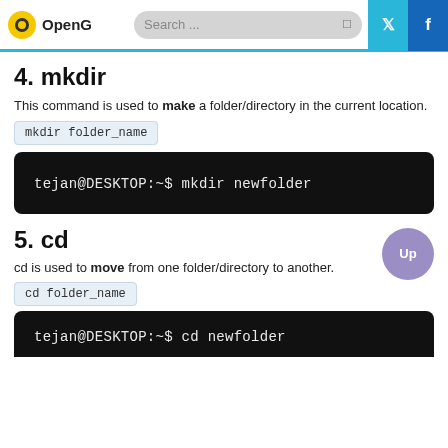OpenG | Search... | Twitter | Facebook
4. mkdir
This command is used to make a folder/directory in the current location.
mkdir folder_name
[Figure (screenshot): Terminal showing command: tejan@DESKTOP:~$ mkdir newfolder]
5. cd
cd is used to move from one folder/directory to another.
cd folder_name
[Figure (screenshot): Terminal showing command: tejan@DESKTOP:~$ cd newfolder (partial view)]